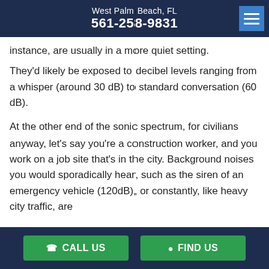West Palm Beach, FL
561-258-9831
instance, are usually in a more quiet setting. They'd likely be exposed to decibel levels ranging from a whisper (around 30 dB) to standard conversation (60 dB).
At the other end of the sonic spectrum, for civilians anyway, let's say you're a construction worker, and you work on a job site that's in the city. Background noises you would sporadically hear, such as the siren of an emergency vehicle (120dB), or constantly, like heavy city traffic, are
CALL US   FIND US